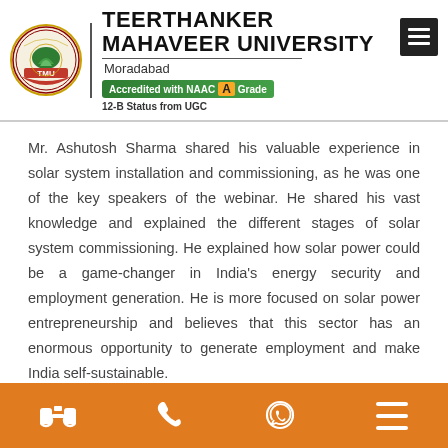[Figure (logo): Teerthanker Mahaveer University logo with TMU circular emblem and university name, NAAC A Grade badge, and 12-B Status from UGC text]
Mr. Ashutosh Sharma shared his valuable experience in solar system installation and commissioning, as he was one of the key speakers of the webinar. He shared his vast knowledge and explained the different stages of solar system commissioning. He explained how solar power could be a game-changer in India's energy security and employment generation. He is more focused on solar power entrepreneurship and believes that this sector has an enormous opportunity to generate employment and make India self-sustainable.
He also presented various schemes driven by central and
[Figure (infographic): Orange footer bar with white icons: binoculars, phone, WhatsApp, and menu/hamburger icons]